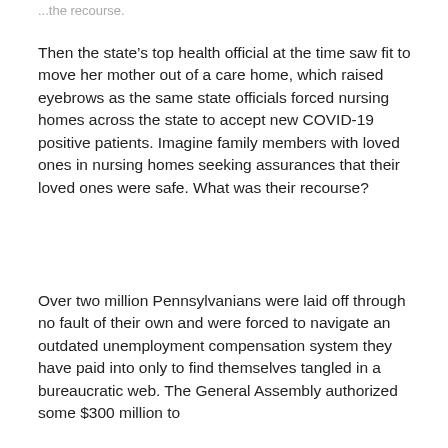...the recourse.
Then the state's top health official at the time saw fit to move her mother out of a care home, which raised eyebrows as the same state officials forced nursing homes across the state to accept new COVID-19 positive patients. Imagine family members with loved ones in nursing homes seeking assurances that their loved ones were safe. What was their recourse?
Over two million Pennsylvanians were laid off through no fault of their own and were forced to navigate an outdated unemployment compensation system they have paid into only to find themselves tangled in a bureaucratic web. The General Assembly authorized some $300 million to...